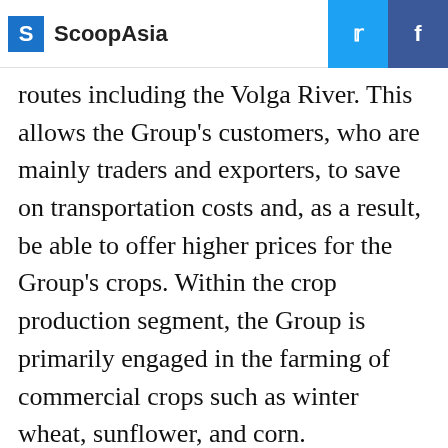ScoopAsia
routes including the Volga River. This allows the Group's customers, who are mainly traders and exporters, to save on transportation costs and, as a result, be able to offer higher prices for the Group's crops. Within the crop production segment, the Group is primarily engaged in the farming of commercial crops such as winter wheat, sunflower, and corn.
In addition, the Group is the largest milk producer in the Rostov region and owns